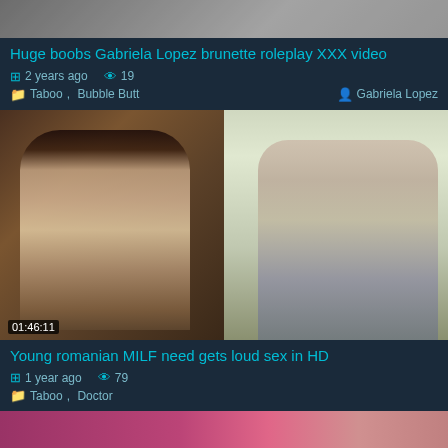[Figure (screenshot): Partial video thumbnail at top of page, cropped]
Huge boobs Gabriela Lopez brunette roleplay XXX video
2 years ago  19
Taboo, Bubble Butt   Gabriela Lopez
[Figure (screenshot): Video thumbnail showing two people seated in a room. Timestamp 01:46:11 in bottom left.]
Young romanian MILF need gets loud sex in HD
1 year ago  79
Taboo, Doctor
[Figure (screenshot): Partial video thumbnail at bottom, pink/skin tones, cropped]